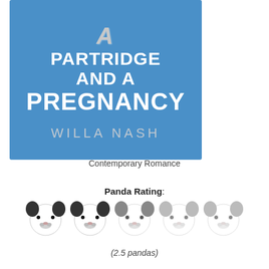[Figure (illustration): Book cover for 'A Partridge and a Pregnancy' by Willa Nash. Blue textured background with large white and silver glittery text for the title, and silver-gray uppercase author name at bottom.]
Contemporary Romance
Panda Rating:
[Figure (other): Five panda face emoji icons in a row. The first three are fully colored (dark), the fourth and fifth are lighter/greyed out, indicating a 2.5 out of 5 panda rating.]
(2.5 pandas)